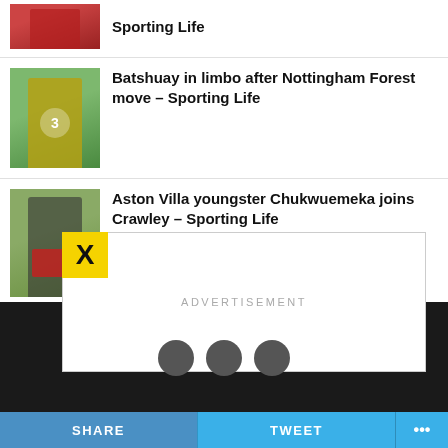[Figure (photo): Partial view of footballer in red kit at top]
[Figure (photo): Batshuay in yellow Chelsea kit with number 3 sponsor]
Batshuay in limbo after Nottingham Forest move – Sporting Life
[Figure (photo): Aston Villa youngster Chukwuemeka holding red shirt]
Aston Villa youngster Chukwuemeka joins Crawley – Sporting Life
[Figure (other): Advertisement overlay with X close button and ADVERTISEMENT text]
SHARE   TWEET   ...